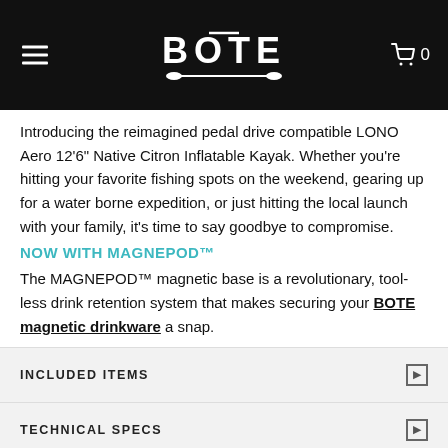BOTE logo, navigation menu, cart (0)
Introducing the reimagined pedal drive compatible LONO Aero 12'6" Native Citron Inflatable Kayak. Whether you're hitting your favorite fishing spots on the weekend, gearing up for a water borne expedition, or just hitting the local launch with your family, it's time to say goodbye to compromise.
NOW WITH MAGNEPOD™
The MAGNEPOD™ magnetic base is a revolutionary, tool-less drink retention system that makes securing your BOTE magnetic drinkware a snap.
INCLUDED ITEMS
TECHNICAL SPECS